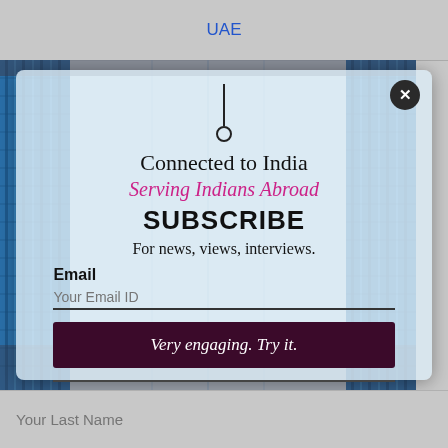UAE
[Figure (screenshot): Subscribe popup modal with blue glass building background. Contains form to subscribe to Connected to India newsletter.]
Connected to India
Serving Indians Abroad
SUBSCRIBE
For news, views, interviews.
Email
Your Email ID
Very engaging. Try it.
Business-Bollywood-Features-News-Fun-Stuff
Your Last Name